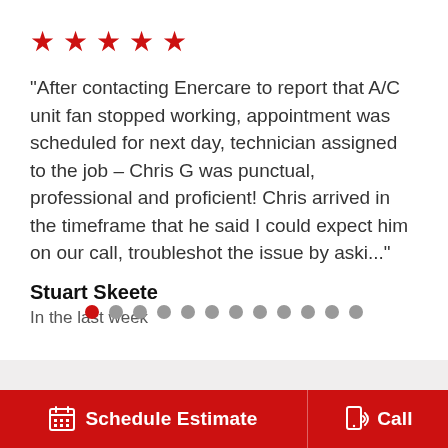[Figure (other): Five red star rating icons]
"After contacting Enercare to report that A/C unit fan stopped working, appointment was scheduled for next day, technician assigned to the job – Chris G was punctual, professional and proficient! Chris arrived in the timeframe that he said I could expect him on our call, troubleshot the issue by aski..."
Stuart Skeete
In the last week
[Figure (other): Pagination dots: first dot active (red), remaining 11 dots gray]
[Figure (other): Bottom action bar with Schedule Estimate button and Call button on red background]